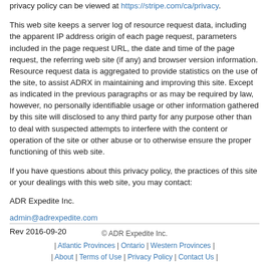privacy policy can be viewed at https://stripe.com/ca/privacy.
This web site keeps a server log of resource request data, including the apparent IP address origin of each page request, parameters included in the page request URL, the date and time of the page request, the referring web site (if any) and browser version information. Resource request data is aggregated to provide statistics on the use of the site, to assist ADRX in maintaining and improving this site. Except as indicated in the previous paragraphs or as may be required by law, however, no personally identifiable usage or other information gathered by this site will disclosed to any third party for any purpose other than to deal with suspected attempts to interfere with the content or operation of the site or other abuse or to otherwise ensure the proper functioning of this web site.
If you have questions about this privacy policy, the practices of this site or your dealings with this web site, you may contact:
ADR Expedite Inc.
admin@adrexpedite.com
Rev 2016-09-20
© ADR Expedite Inc.
| Atlantic Provinces | Ontario | Western Provinces |
| About | Terms of Use | Privacy Policy | Contact Us |